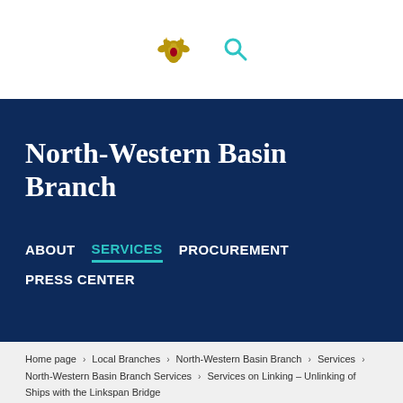[Figure (logo): Russian government emblem (double-headed eagle in gold) and a teal search icon]
North-Western Basin Branch
ABOUT   SERVICES   PROCUREMENT   PRESS CENTER
Home page › Local Branches › North-Western Basin Branch › Services › North-Western Basin Branch Services › Services on Linking – Unlinking of Ships with the Linkspan Bridge